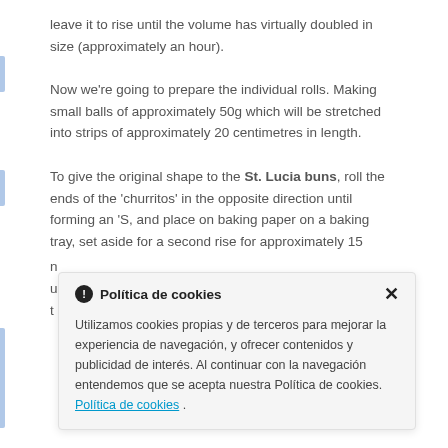leave it to rise until the volume has virtually doubled in size (approximately an hour).
Now we're going to prepare the individual rolls. Making small balls of approximately 50g which will be stretched into strips of approximately 20 centimetres in length.
To give the original shape to the St. Lucia buns, roll the ends of the 'churritos' in the opposite direction until forming an 'S, and place on baking paper on a baking tray, set aside for a second rise for approximately 15
Política de cookies
Utilizamos cookies propias y de terceros para mejorar la experiencia de navegación, y ofrecer contenidos y publicidad de interés. Al continuar con la navegación entendemos que se acepta nuestra Política de cookies. Política de cookies .